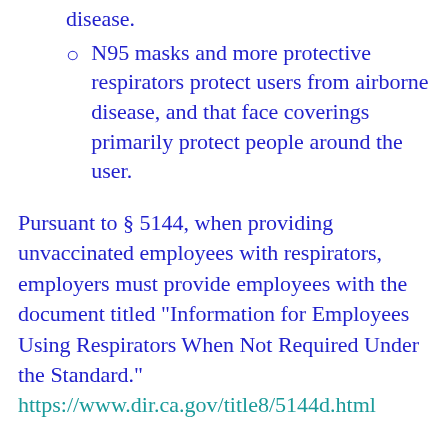N95 masks and more protective respirators protect users from airborne disease, and that face coverings primarily protect people around the user.
Pursuant to § 5144, when providing unvaccinated employees with respirators, employers must provide employees with the document titled "Information for Employees Using Respirators When Not Required Under the Standard." https://www.dir.ca.gov/title8/5144d.html
Employers may require